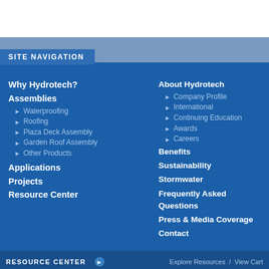SITE NAVIGATION
Why Hydrotech?
Assemblies
Waterproofing
Roofing
Plaza Deck Assembly
Garden Roof Assembly
Other Products
Applications
Projects
Resource Center
About Hydrotech
Company Profile
International
Continuing Education
Awards
Careers
Benefits
Sustainability
Stormwater
Frequently Asked Questions
Press & Media Coverage
Contact
RESOURCE CENTER   Explore Resources  /  View Cart